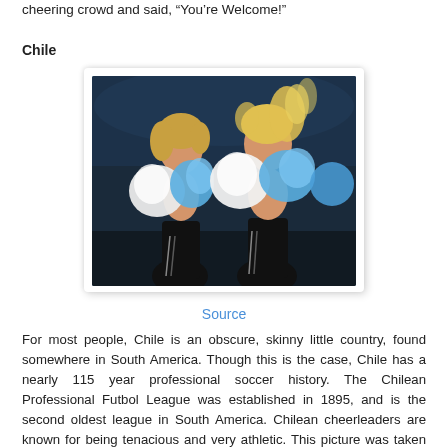cheering crowd and said, “You’re Welcome!”
Chile
[Figure (photo): Two cheerleaders in black outfits holding blue and white pom-poms, performing energetically during a soccer event.]
Source
For most people, Chile is an obscure, skinny little country, found somewhere in South America. Though this is the case, Chile has a nearly 115 year professional soccer history. The Chilean Professional Futbol League was established in 1895, and is the second oldest league in South America. Chilean cheerleaders are known for being tenacious and very athletic. This picture was taken during the half time break of the 2008 South American Beach Soccer